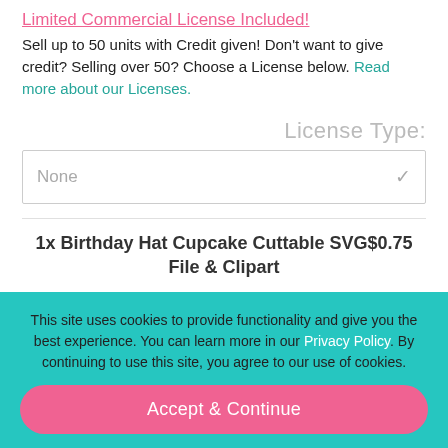Limited Commercial License Included!
Sell up to 50 units with Credit given! Don't want to give credit? Selling over 50? Choose a License below. Read more about our Licenses.
License Type:
None
1x Birthday Hat Cupcake Cuttable SVG$0.75 File & Clipart
This site uses cookies to provide functionality and give you the best experience. You can learn more in our Privacy Policy. By continuing to use this site, you agree to our use of cookies.
Accept & Continue